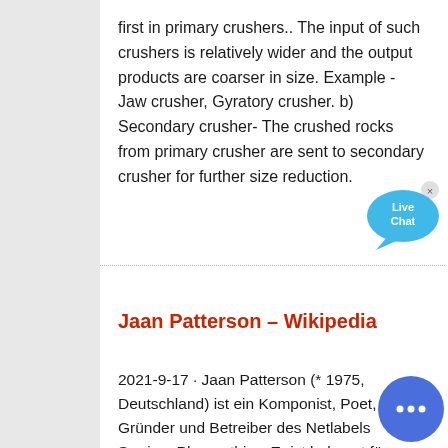first in primary crushers.. The input of such crushers is relatively wider and the output products are coarser in size. Example - Jaw crusher, Gyratory crusher. b) Secondary crusher- The crushed rocks from primary crusher are sent to secondary crusher for further size reduction.
Jaan Patterson – Wikipedia
2021-9-17 · Jaan Patterson (* 1975, Deutschland) ist ein Komponist, Poet, sowie Gründer und Betreiber des Netlabels Surrism-Phonoethics. Er ist bekannt für seine vom Dada und